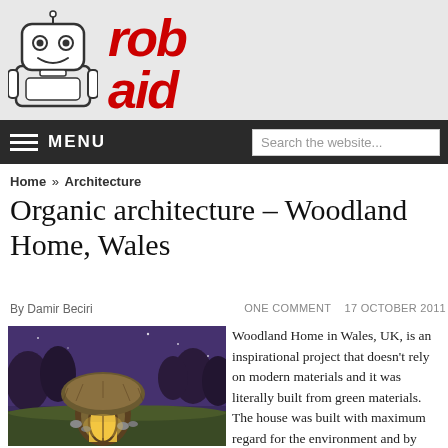[Figure (logo): Rob Aid website logo with robot mascot illustration and red italic 'rob aid' text with BETA label]
MENU  Search the website...
Home » Architecture
Organic architecture – Woodland Home, Wales
By Damir Beciri   ONE COMMENT   17 OCTOBER 2011
[Figure (photo): Photo of a hobbit-style woodland home at night with glowing doorway, thatched roof and natural surroundings in Wales, UK]
Woodland Home in Wales, UK, is an inspirational project that doesn't rely on modern materials and it was literally built from green materials. The house was built with maximum regard for the environment and by reciprocation provides a unique opportunity to live close to nature. Unlike the Earth House